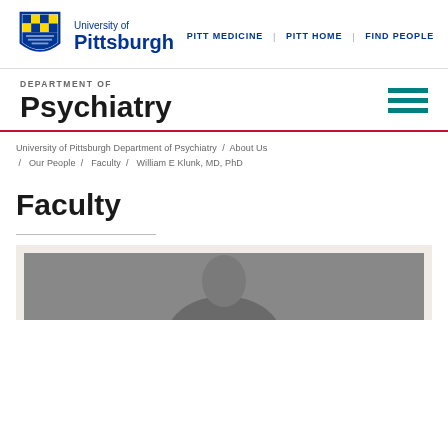[Figure (logo): University of Pittsburgh shield logo with blue and gold colors, beside text 'University of Pittsburgh']
PITT MEDICINE | PITT HOME | FIND PEOPLE
DEPARTMENT OF
Psychiatry
University of Pittsburgh Department of Psychiatry / About Us / Our People / Faculty / William E Klunk, MD, PhD
Faculty
[Figure (photo): Partial photo of a person (William E Klunk, MD, PhD) with gray background, cropped at bottom of page]